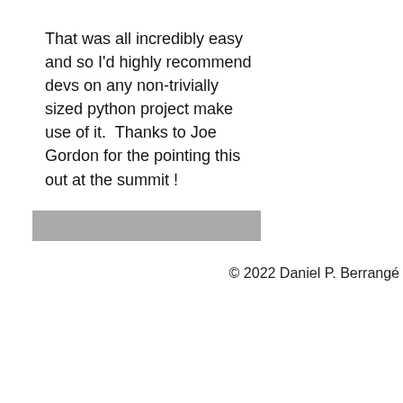That was all incredibly easy and so I'd highly recommend devs on any non-trivially sized python project make use of it.  Thanks to Joe Gordon for the pointing this out at the summit !
[Figure (other): A gray horizontal rectangle bar]
© 2022 Daniel P. Berrangé